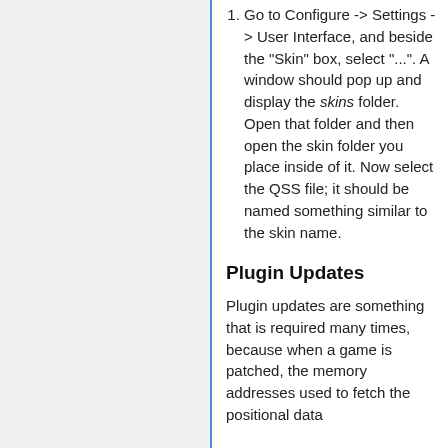Go to Configure -> Settings -> User Interface, and beside the "Skin" box, select "...". A window should pop up and display the skins folder. Open that folder and then open the skin folder you place inside of it. Now select the QSS file; it should be named something similar to the skin name.
Plugin Updates
Plugin updates are something that is required many times, because when a game is patched, the memory addresses used to fetch the positional data